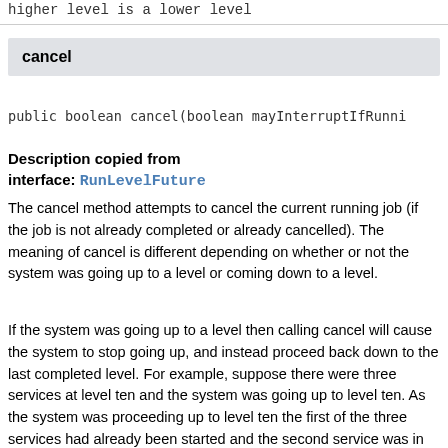higher level is a lower level
cancel
public boolean cancel(boolean mayInterruptIfRunni
Description copied from
interface: RunLevelFuture
The cancel method attempts to cancel the current running job (if the job is not already completed or already cancelled). The meaning of cancel is different depending on whether or not the system was going up to a level or coming down to a level.
If the system was going up to a level then calling cancel will cause the system to stop going up, and instead proceed back down to the last completed level. For example, suppose there were three services at level ten and the system was going up to level ten. As the system was proceeding up to level ten the first of the three services had already been started and the second service was in progress and the third service had not been